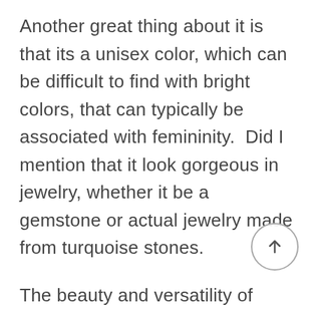Another great thing about it is that its a unisex color, which can be difficult to find with bright colors, that can typically be associated with femininity.  Did I mention that it look gorgeous in jewelry, whether it be a gemstone or actual jewelry made from turquoise stones.
The beauty and versatility of turquoise prompted me to create a mood board that I am absolutely in love with.  Its full of the different, and even non  conventional ways in which the color turquoise is used.  I personally love the use of it in architecture,